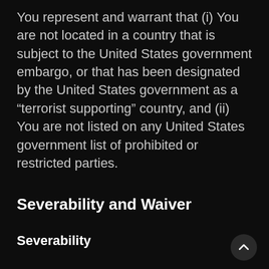You represent and warrant that (i) You are not located in a country that is subject to the United States government embargo, or that has been designated by the United States government as a “terrorist supporting” country, and (ii) You are not listed on any United States government list of prohibited or restricted parties.
Severability and Waiver
Severability
If any provision of these Terms is held to be unenforceable or invalid, such provision will be